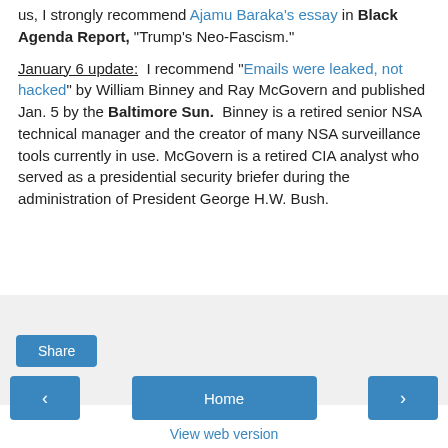us, I strongly recommend Ajamu Baraka's essay in Black Agenda Report, "Trump's Neo-Fascism."
January 6 update:  I recommend "Emails were leaked, not hacked" by William Binney and Ray McGovern and published Jan. 5 by the Baltimore Sun.  Binney is a retired senior NSA technical manager and the creator of many NSA surveillance tools currently in use. McGovern is a retired CIA analyst who served as a presidential security briefer during the administration of President George H.W. Bush.
[Figure (screenshot): Share button widget area with light gray background]
[Figure (infographic): Navigation row with left arrow button, Home button, and right arrow button, plus View web version link below]